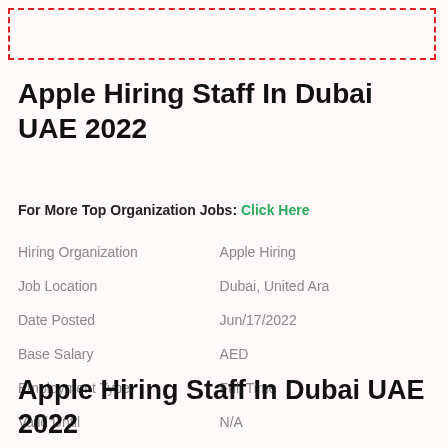[Figure (other): Red dashed rectangle border at top of page]
Apple Hiring Staff In Dubai UAE 2022
For More Top Organization Jobs: Click Here
| Field | Value |
| --- | --- |
| Hiring Organization | Apple Hiring |
| Job Location | Dubai, United Ara |
| Date Posted | Jun/17/2022 |
| Base Salary | AED |
| Employment Type | Full Time |
| Valid Until | N/A |
Apple Hiring Staff In Dubai UAE 2022